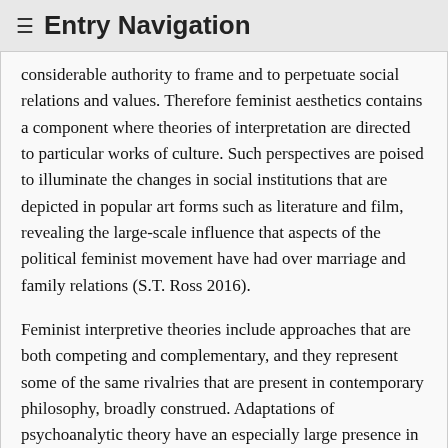≡ Entry Navigation
considerable authority to frame and to perpetuate social relations and values. Therefore feminist aesthetics contains a component where theories of interpretation are directed to particular works of culture. Such perspectives are poised to illuminate the changes in social institutions that are depicted in popular art forms such as literature and film, revealing the large-scale influence that aspects of the political feminist movement have had over marriage and family relations (S.T. Ross 2016).
Feminist interpretive theories include approaches that are both competing and complementary, and they represent some of the same rivalries that are present in contemporary philosophy, broadly construed. Adaptations of psychoanalytic theory have an especially large presence in the interpretation of performance, literature, film and visual arts. Some feminists employ the discourse of Jacques Lacan, whose concept of the symbolic order has been widely applied to understand the power of patriarchy embedded in cultural forms of every kind